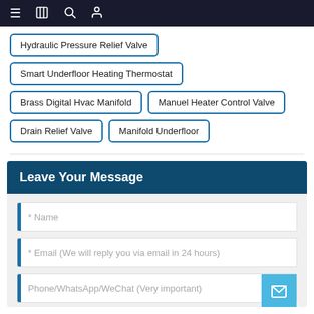Navigation bar with menu, book, search, and user icons
Hydraulic Pressure Relief Valve
Smart Underfloor Heating Thermostat
Brass Digital Hvac Manifold
Manuel Heater Control Valve
Drain Relief Valve
Manifold Underfloor
Leave Your Message
* Name
* Email (We will reply you via email in 24 hours)
Phone/WhatsApp/WeChat (Very important)